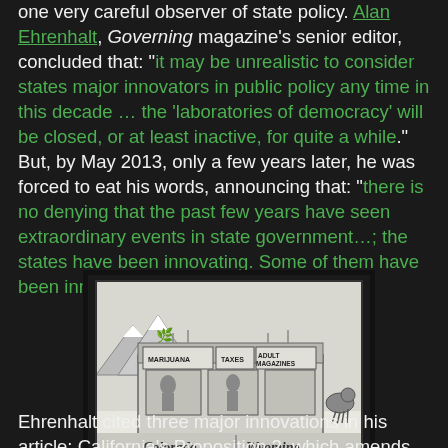one very careful observer of state policy. Alan Ehrenhalt, Governing magazine's senior editor, concluded that: "it may be unrealistic to consider states major innovators in public policy any time in this decade … the 'laboratories of democracy' will be closed, or at least inactive, for quite a while." But, by May 2013, only a few years later, he was forced to eat his words, announcing that: "there is no denying that the past few years have seen extraordinary events in state government…; the states have been innovating. Some of them have been innovating like mad."
[Figure (illustration): A cartoon illustration of a building labeled 'Colorado' and 'Wyoming' at the bottom, with signs for Marijuana, Taxes, and Magazines on the storefront, along with a buffalo figure on the right side.]
Ehrenhalt cited three major innovations in his article: California's Proposition 2, which amends the state